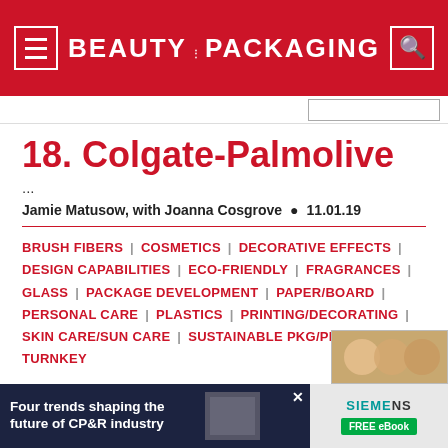BEAUTY PACKAGING
18. Colgate-Palmolive
...
Jamie Matusow, with Joanna Cosgrove  •  11.01.19
BRUSH FIBERS | COSMETICS | DECORATIVE EFFECTS | DESIGN CAPABILITIES | ECO-FRIENDLY | FRAGRANCES | GLASS | PACKAGE DEVELOPMENT | PAPER/BOARD | PERSONAL CARE | PLASTICS | PRINTING/DECORATING | SKIN CARE/SUN CARE | SUSTAINABLE PKG/PRACTICES | TURNKEY
[Figure (photo): Partial photo visible at bottom right of page]
[Figure (screenshot): Advertisement: Four trends shaping the future of CP&R industry — Siemens FREE eBook]